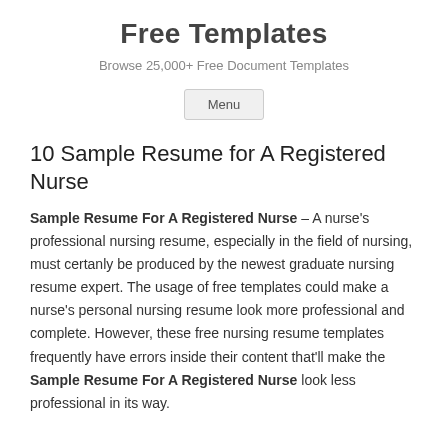Free Templates
Browse 25,000+ Free Document Templates
Menu
10 Sample Resume for A Registered Nurse
Sample Resume For A Registered Nurse – A nurse's professional nursing resume, especially in the field of nursing, must certanly be produced by the newest graduate nursing resume expert. The usage of free templates could make a nurse's personal nursing resume look more professional and complete. However, these free nursing resume templates frequently have errors inside their content that'll make the Sample Resume For A Registered Nurse look less professional in its way.